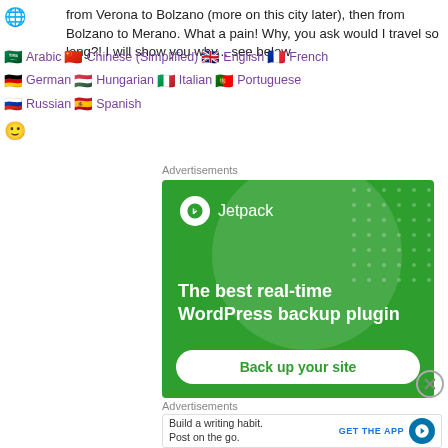from Verona to Bolzano (more on this city later), then from Bolzano to Merano. What a pain! Why, you ask would I travel so long?! I will show you why... see below
Arabic  Chinese (Simplified)  English  French  German  Hungarian  Italian  Portuguese  Russian  Spanish
Advertisements
[Figure (screenshot): Jetpack advertisement banner: green background with circle decoration, Jetpack logo and name, tagline 'The best real-time WordPress backup plugin', and a 'Back up your site' button]
Advertisements
[Figure (screenshot): WordPress app advertisement: 'Build a writing habit. Post on the go.' with GET THE APP button and WordPress logo]